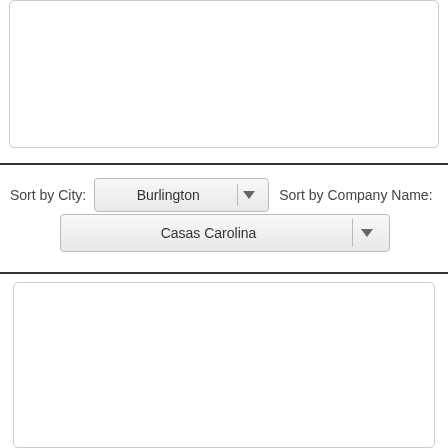[Figure (screenshot): Top empty white box with rounded border]
Sort by City: Burlington
Sort by Company Name: Casas Carolina
[Figure (screenshot): Bottom empty white box with rounded border]